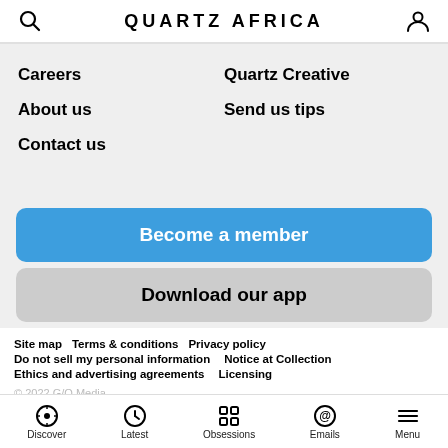QUARTZ AFRICA
Careers
Quartz Creative
About us
Send us tips
Contact us
Become a member
Download our app
Site map   Terms & conditions   Privacy policy
Do not sell my personal information   Notice at Collection
Ethics and advertising agreements   Licensing
Discover   Latest   Obsessions   Emails   Menu